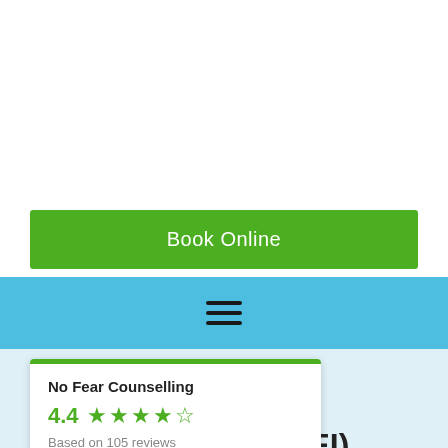[Figure (screenshot): White background area at top of page, part of a website UI]
[Figure (screenshot): Green 'Book Online' button]
[Figure (screenshot): Blue navigation bar with hamburger menu icon]
[Figure (screenshot): Review card overlay showing No Fear Counselling, rating 4.4, 4.5 stars, Based on 105 reviews]
No Fear Counselling
4.4
Based on 105 reviews
periential Integration (OEI)